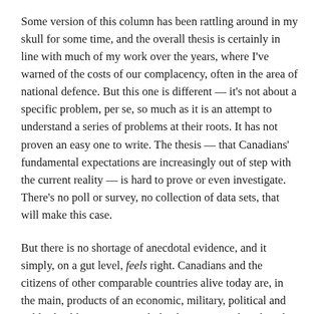Some version of this column has been rattling around in my skull for some time, and the overall thesis is certainly in line with much of my work over the years, where I've warned of the costs of our complacency, often in the area of national defence. But this one is different — it's not about a specific problem, per se, so much as it is an attempt to understand a series of problems at their roots. It has not proven an easy one to write. The thesis — that Canadians' fundamental expectations are increasingly out of step with the current reality — is hard to prove or even investigate. There's no poll or survey, no collection of data sets, that will make this case.
But there is no shortage of anecdotal evidence, and it simply, on a gut level, feels right. Canadians and the citizens of other comparable countries alive today are, in the main, products of an economic, military, political and public-health winning streak that has continued unabated since the end of the Second World War.